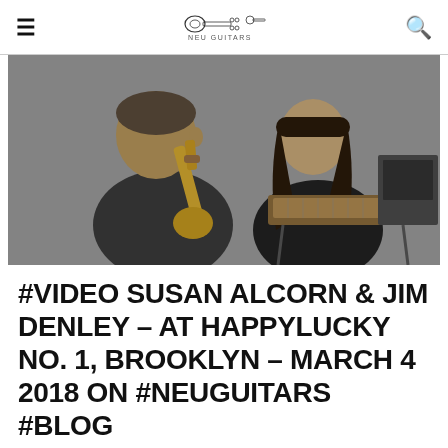≡  [logo: NEU GUITARS]  🔍
[Figure (photo): Black and white photo of two musicians performing. On the left, a man plays a saxophone. On the right, a woman with long hair operates a steel guitar or lap steel instrument on a stand. The setting appears to be an intimate indoor venue.]
#VIDEO SUSAN ALCORN & JIM DENLEY – AT HAPPYLUCKY NO. 1, BROOKLYN – MARCH 4 2018 ON #NEUGUITARS #BLOG